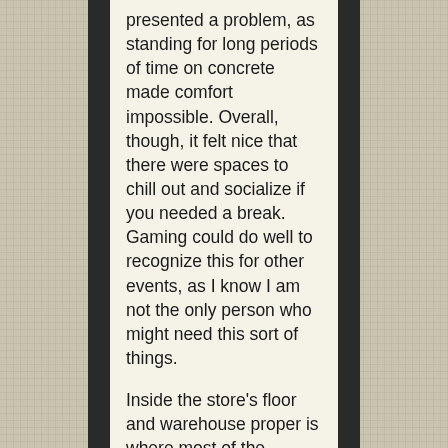presented a problem, as standing for long periods of time on concrete made comfort impossible. Overall, though, it felt nice that there were spaces to chill out and socialize if you needed a break. Gaming could do well to recognize this for other events, as I know I am not the only person who might need this sort of things.
Inside the store's floor and warehouse proper is where most of the games were being exhibited. I milled